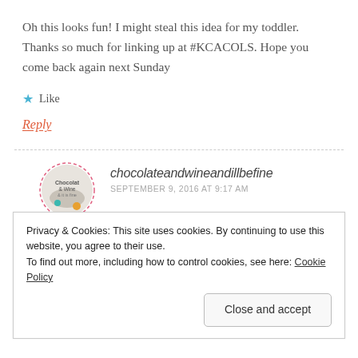Oh this looks fun! I might steal this idea for my toddler. Thanks so much for linking up at #KCACOLS. Hope you come back again next Sunday
★ Like
Reply
chocolateandwineandillbefine
SEPTEMBER 9, 2016 AT 9:17 AM
Privacy & Cookies: This site uses cookies. By continuing to use this website, you agree to their use.
To find out more, including how to control cookies, see here: Cookie Policy
Close and accept